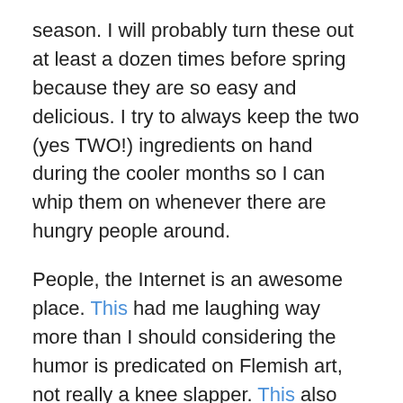season. I will probably turn these out at least a dozen times before spring because they are so easy and delicious. I try to always keep the two (yes TWO!) ingredients on hand during the cooler months so I can whip them on whenever there are hungry people around.
People, the Internet is an awesome place. This had me laughing way more than I should considering the humor is predicated on Flemish art, not really a knee slapper. This also had me laughing, though only in hindsight, as I was mostly just disturbed the first time soon.
Remember those lofty New Year's resolutions? I am not a total failure. Up until this weekend, my nails were painted for 4.5 weeks solid and I cannot even begin to express how awesome that is. I had a minor girl moment a couple weeks ago where I might have sputtered out in tears,